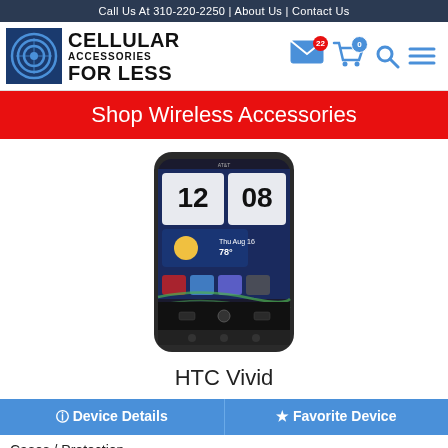Call Us At 310-220-2250 | About Us | Contact Us
[Figure (logo): Cellular Accessories For Less logo with circular signal icon and bold text]
[Figure (infographic): Header icons: envelope with badge 22, shopping cart with badge 0, search icon, menu icon]
Shop Wireless Accessories
[Figure (photo): HTC Vivid smartphone showing home screen with clock displaying 12:08, weather widget, and app icons]
HTC Vivid
Device Details   Favorite Device
Cases / Protection